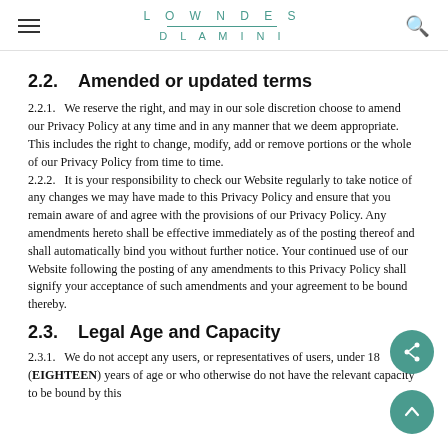LOWNDES DLAMINI
2.2.  Amended or updated terms
2.2.1.   We reserve the right, and may in our sole discretion choose to amend our Privacy Policy at any time and in any manner that we deem appropriate. This includes the right to change, modify, add or remove portions or the whole of our Privacy Policy from time to time.
2.2.2.   It is your responsibility to check our Website regularly to take notice of any changes we may have made to this Privacy Policy and ensure that you remain aware of and agree with the provisions of our Privacy Policy. Any amendments hereto shall be effective immediately as of the posting thereof and shall automatically bind you without further notice. Your continued use of our Website following the posting of any amendments to this Privacy Policy shall signify your acceptance of such amendments and your agreement to be bound thereby.
2.3.  Legal Age and Capacity
2.3.1.   We do not accept any users, or representatives of users, under 18 (EIGHTEEN) years of age or who otherwise do not have the relevant capacity to be bound by this